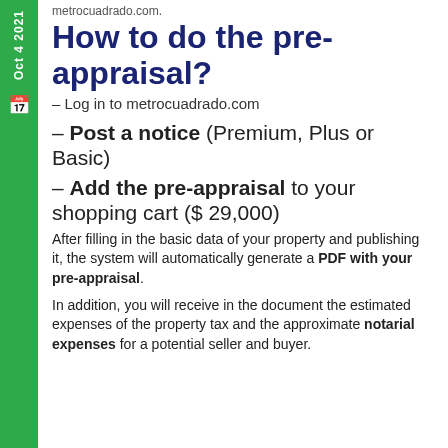metrocuadrado.com.
How to do the pre-appraisal?
– Log in to metrocuadrado.com
– Post a notice (Premium, Plus or Basic)
– Add the pre-appraisal to your shopping cart ($ 29,000)
After filling in the basic data of your property and publishing it, the system will automatically generate a PDF with your pre-appraisal.
In addition, you will receive in the document the estimated expenses of the property tax and the approximate notarial expenses for a potential seller and buyer.